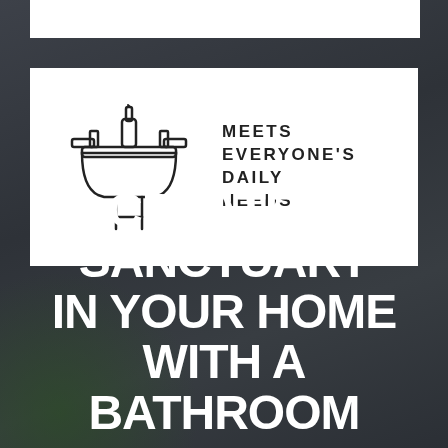[Figure (infographic): Dark background image of a bathroom/home interior with plant visible. Contains a white rectangular card with a bathroom sink icon and the text 'MEETS EVERYONE'S DAILY NEEDS', and a large bold title 'CREATE A SANCTUARY IN YOUR HOME WITH A BATHROOM' at the bottom.]
MEETS EVERYONE'S DAILY NEEDS
CREATE A SANCTUARY IN YOUR HOME WITH A BATHROOM